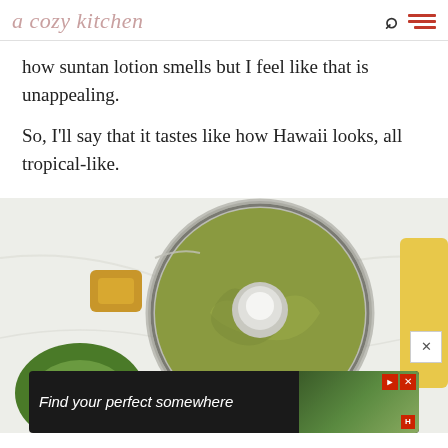a cozy kitchen
how suntan lotion smells but I feel like that is unappealing.
So, I'll say that it tastes like how Hawaii looks, all tropical-like.
[Figure (photo): Overhead view of a food processor bowl containing green avocado-based sauce or puree, with an avocado half visible to the lower left, on a white marble surface.]
Find your perfect somewhere